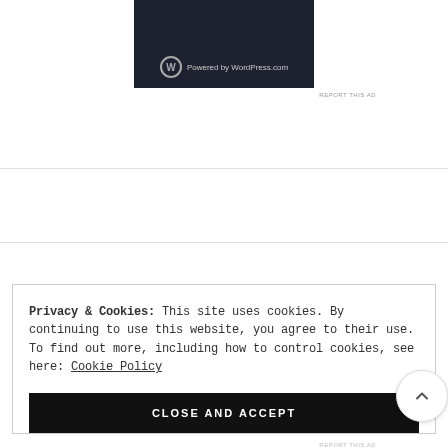[Figure (screenshot): WordPress.com ad banner with dark background showing WordPress logo and 'Powered by WordPress.com' text]
REPORT THIS AD
Privacy & Cookies: This site uses cookies. By continuing to use this website, you agree to their use.
To find out more, including how to control cookies, see here: Cookie Policy
CLOSE AND ACCEPT